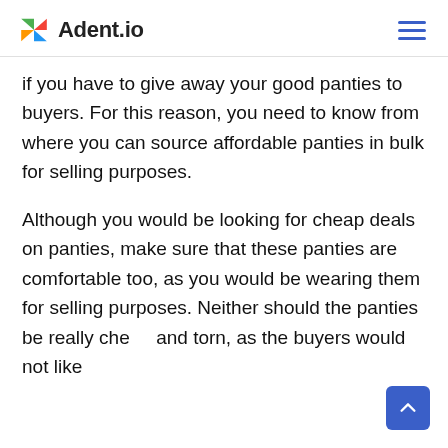Adent.io
if you have to give away your good panties to buyers. For this reason, you need to know from where you can source affordable panties in bulk for selling purposes.
Although you would be looking for cheap deals on panties, make sure that these panties are comfortable too, as you would be wearing them for selling purposes. Neither should the panties be really cheap and torn, as the buyers would not like